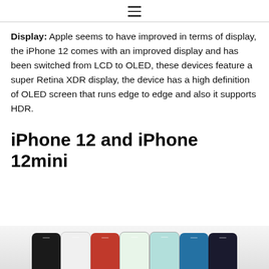≡
Display: Apple seems to have improved in terms of display, the iPhone 12 comes with an improved display and has been switched from LCD to OLED, these devices feature a super Retina XDR display, the device has a high definition of OLED screen that runs edge to edge and also it supports HDR.
iPhone 12 and iPhone 12mini
[Figure (photo): Row of iPhone 12 devices in multiple colors (black, white, red, green, blue, purple) shown from the top/back, lined up side by side]